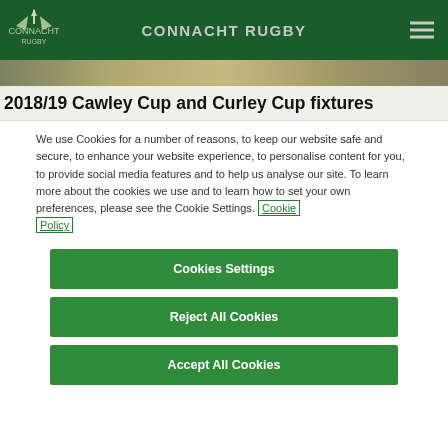CONNACHT RUGBY
[Figure (photo): Hero image showing partial faces of rugby players or supporters]
2018/19 Cawley Cup and Curley Cup fixtures
We use Cookies for a number of reasons, to keep our website safe and secure, to enhance your website experience, to personalise content for you, to provide social media features and to help us analyse our site. To learn more about the cookies we use and to learn how to set your own preferences, please see the Cookie Settings. Cookie Policy
Cookies Settings
Reject All Cookies
Accept All Cookies